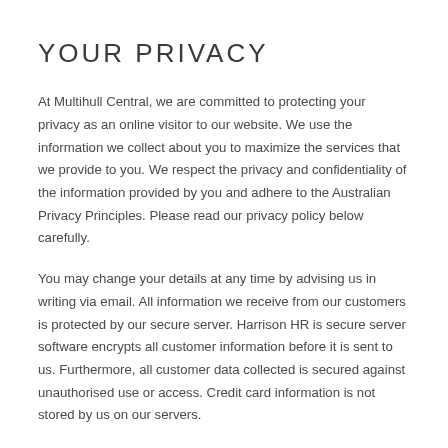YOUR PRIVACY
At Multihull Central, we are committed to protecting your privacy as an online visitor to our website. We use the information we collect about you to maximize the services that we provide to you. We respect the privacy and confidentiality of the information provided by you and adhere to the Australian Privacy Principles. Please read our privacy policy below carefully.
You may change your details at any time by advising us in writing via email. All information we receive from our customers is protected by our secure server. Harrison HR is secure server software encrypts all customer information before it is sent to us. Furthermore, all customer data collected is secured against unauthorised use or access. Credit card information is not stored by us on our servers.